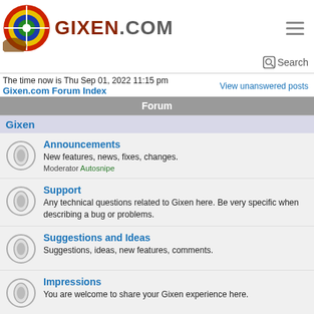[Figure (logo): Gixen.com logo with archery target icon and bold text]
Search
The time now is Thu Sep 01, 2022 11:15 pm
Gixen.com Forum Index
View unanswered posts
Forum
Gixen
Announcements
New features, news, fixes, changes.
Moderator Autosnipe
Support
Any technical questions related to Gixen here. Be very specific when describing a bug or problems.
Suggestions and Ideas
Suggestions, ideas, new features, comments.
Impressions
You are welcome to share your Gixen experience here.
Blog
Mario's Gixen Blog for Gixen enthusiasts. Read & post your comments.